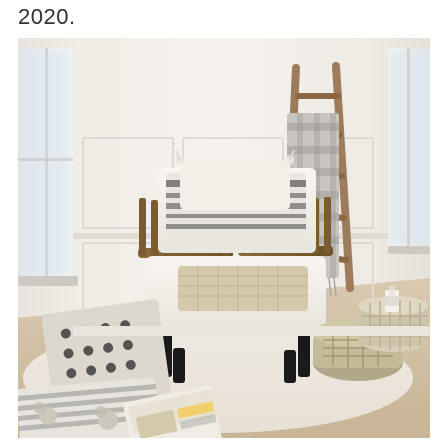2020.
[Figure (photo): Interior lifestyle photograph showing a wooden armchair with white cushions, a black and white striped decorative pillow, a tassel white pillow, a woven throw blanket, a patterned floor pillow, striped floor cushion with pom-poms, an open magazine on the floor, a woven decorative ladder with a gray blanket draped over it, a wicker pouf, a large woven basket with a candle on top, all arranged on a cream rug against a white paneled wall with natural light from windows.]